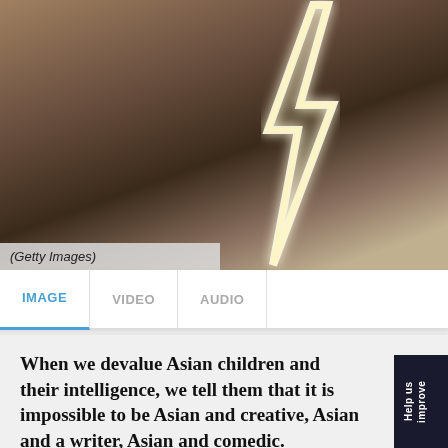[Figure (photo): A glowing neon lightning bolt sign held against a blurred dark interior background with warm tones. The lightning bolt emits a bright warm white/yellow glow.]
(Getty Images)
IMAGE   VIDEO   AUDIO
When we devalue Asian children and their intelligence, we tell them that it is impossible to be Asian and creative, Asian and a writer, Asian and comedic.
By Bridget Harilaou
15 OCT 2018  4:11 PM  UPDATED 3 SEP 2021  3:10 PM